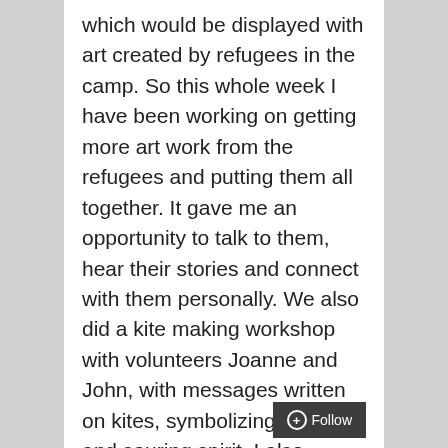which would be displayed with art created by refugees in the camp. So this whole week I have been working on getting more art work from the refugees and putting them all together. It gave me an opportunity to talk to them, hear their stories and connect with them personally. We also did a kite making workshop with volunteers Joanne and John, with messages written on kites, symbolizing freedom and souring spirit. I also thought of creating prayer flags and did some experiments around it today. I asked some of them, what gives you